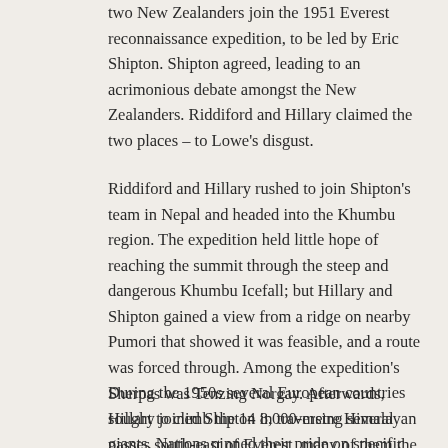two New Zealanders join the 1951 Everest reconnaissance expedition, to be led by Eric Shipton. Shipton agreed, leading to an acrimonious debate amongst the New Zealanders. Riddiford and Hillary claimed the two places – to Lowe's disgust.
Riddiford and Hillary rushed to join Shipton's team in Nepal and headed into the Khumbu region. The expedition held little hope of reaching the summit through the steep and dangerous Khumbu Icefall; but Hillary and Shipton gained a view from a ridge on nearby Pumori that showed it was feasible, and a route was forced through. Among the expedition's Sherpas was Tenzing Norgay. Afterwards, Hillary joined Shipton in traversing several passes south-east of Everest, many of them the first crossings.
During the 1950s several European countries sought to climb the 14 8,000-metre Himalayan giants. Nations pinned their pride on specific mountains, with the French first succeeding on Annapurna in 1950. Everest